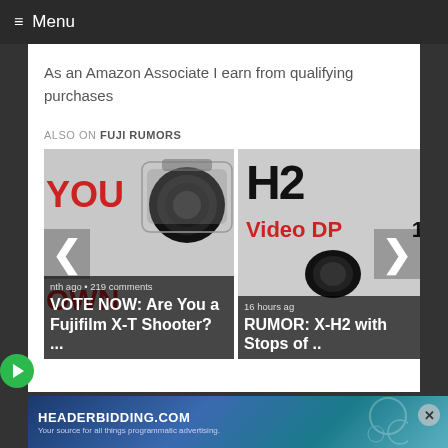≡ Menu
As an Amazon Associate I earn from qualifying purchases
ALSO ON FUJI RUMORS
[Figure (screenshot): Carousel showing two article cards: 1) VOTE NOW: Are You a Fujifilm X-T Shooter? ... (1 month ago • 219 comments) with camera image and YOU / OWN text in red; 2) RUMOR: X-H2 with Stops of ... (16 hours ago) with H2 and Video DP text. Left and right navigation arrows visible.]
[Figure (screenshot): Advertisement banner for HEADERBIDDING.COM - Your source for all things programmatic advertising.]